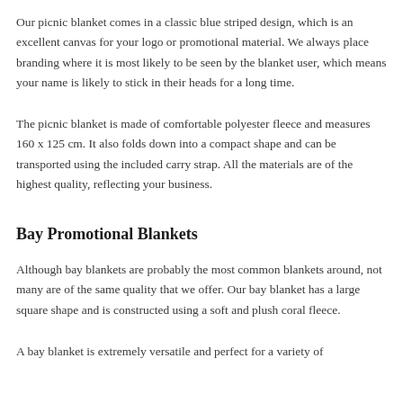Our picnic blanket comes in a classic blue striped design, which is an excellent canvas for your logo or promotional material. We always place branding where it is most likely to be seen by the blanket user, which means your name is likely to stick in their heads for a long time.
The picnic blanket is made of comfortable polyester fleece and measures 160 x 125 cm. It also folds down into a compact shape and can be transported using the included carry strap. All the materials are of the highest quality, reflecting your business.
Bay Promotional Blankets
Although bay blankets are probably the most common blankets around, not many are of the same quality that we offer. Our bay blanket has a large square shape and is constructed using a soft and plush coral fleece.
A bay blanket is extremely versatile and perfect for a variety of